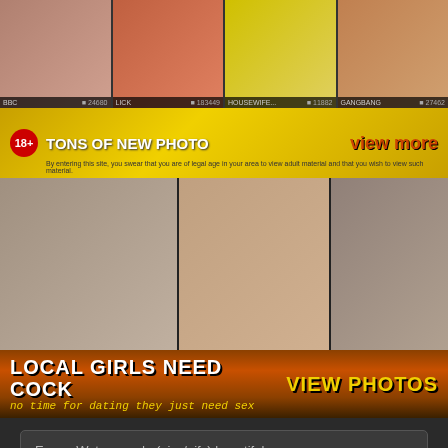[Figure (screenshot): Adult website thumbnail row with 4 images labeled BBC 24680, LICK 183449, HOUSEWIFE 11882, GANGBANG 27462]
[Figure (photo): Yellow promotional banner: 18+ TONS OF NEW PHOTO, view more. Disclaimer text below.]
[Figure (photo): Three adult content photo thumbnails side by side]
[Figure (photo): Dark red banner: LOCAL GIRLS NEED COCK / no time for dating they just need sex / VIEW PHOTOS]
Emma Watson nude (pics/gifs) beautiful pussy.
Chubby desi xxx galleries - Pussy Sex Images. Comments: 3
[Figure (photo): Adult content image, partial view of persons]